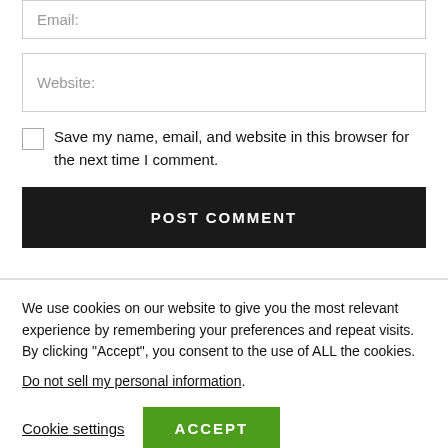Email:
Website:
Save my name, email, and website in this browser for the next time I comment.
POST COMMENT
We use cookies on our website to give you the most relevant experience by remembering your preferences and repeat visits. By clicking “Accept”, you consent to the use of ALL the cookies.
Do not sell my personal information.
Cookie settings
ACCEPT